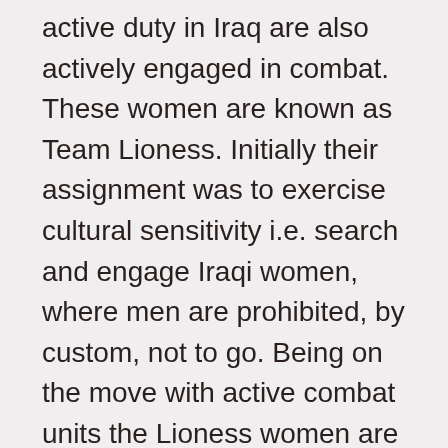active duty in Iraq are also actively engaged in combat. These women are known as Team Lioness. Initially their assignment was to exercise cultural sensitivity i.e. search and engage Iraqi women, where men are prohibited, by custom, not to go. Being on the move with active combat units the Lioness women are forced into battle even though they didn't receive the identical training of their male counterparts. It's a kill or be killed proposition. So the surprise for me was learning that to this day official U.S. military policy prohibits women from engaging in active combat. The debate continues on that topic as with the war/occupation itself.
I'll be facilitating two FREE screenings starting next